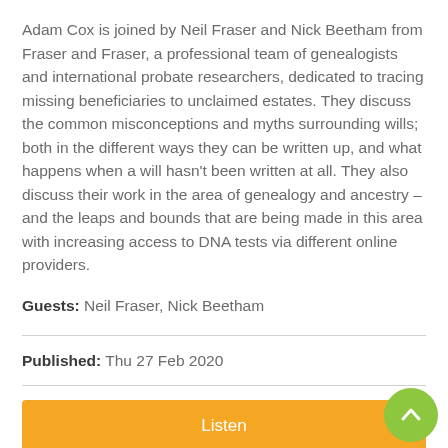Adam Cox is joined by Neil Fraser and Nick Beetham from Fraser and Fraser, a professional team of genealogists and international probate researchers, dedicated to tracing missing beneficiaries to unclaimed estates. They discuss the common misconceptions and myths surrounding wills; both in the different ways they can be written up, and what happens when a will hasn't been written at all. They also discuss their work in the area of genealogy and ancestry – and the leaps and bounds that are being made in this area with increasing access to DNA tests via different online providers.
Guests: Neil Fraser, Nick Beetham
Published: Thu 27 Feb 2020
Listen
Share Podcast